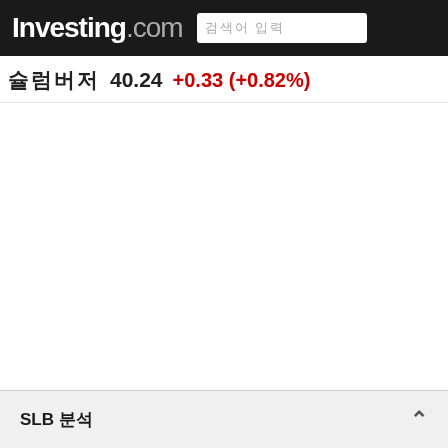Investing.com
슐럼버거  40.24  +0.33 (+0.82%)
SLB 분석